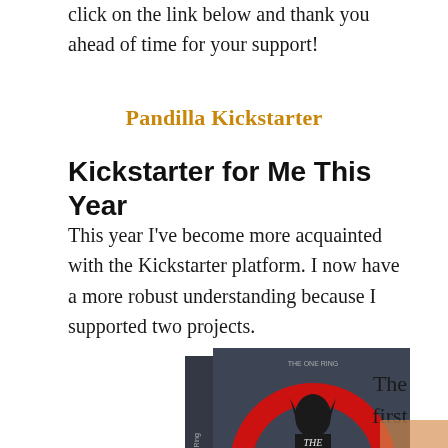click on the link below and thank you ahead of time for your support!
Pandilla Kickstarter
Kickstarter for Me This Year
This year I've become more acquainted with the Kickstarter platform. I now have a more robust understanding because I supported two projects.
[Figure (photo): Book cover of 'The One Ring' RPG with a dark armored figure and red ring design]
The first